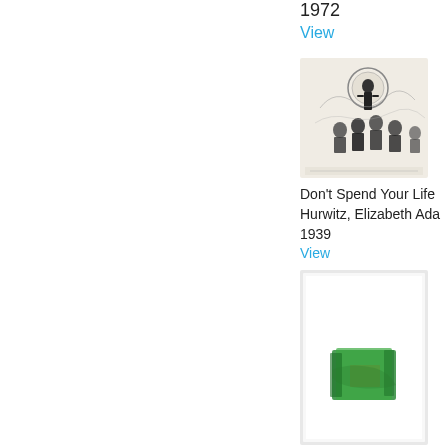1972
View
[Figure (illustration): Black and white sketch/etching showing a figure standing before a crowd or audience, with circular light or moon in background]
Don't Spend Your Life
Hurwitz, Elizabeth Ada
1939
View
[Figure (illustration): Abstract artwork in white frame showing green brushstroke rectangle on white background]